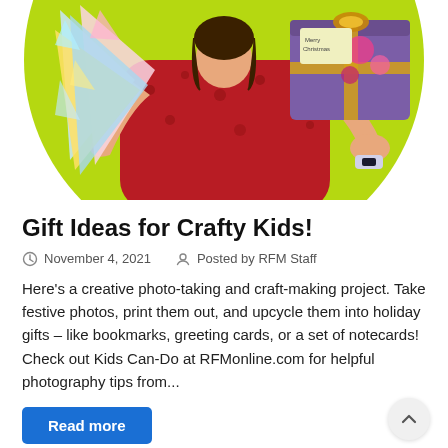[Figure (illustration): Illustrated girl in a red floral dress holding colorful craft papers and a purple gift box with Christmas decorations, set against a lime green circle background]
Gift Ideas for Crafty Kids!
November 4, 2021    Posted by RFM Staff
Here's a creative photo-taking and craft-making project. Take festive photos, print them out, and upcycle them into holiday gifts – like bookmarks, greeting cards, or a set of notecards! Check out Kids Can-Do at RFMonline.com for helpful photography tips from...
Read more